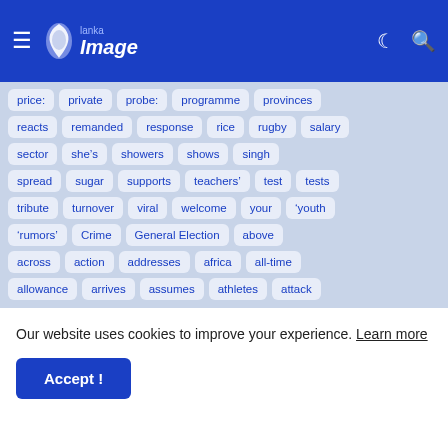Lanka Image - header with menu, logo, dark mode and search icons
price:
private
probe:
programme
provinces
reacts
remanded
response
rice
rugby
salary
sector
she&#8217;s
showers
shows
singh
spread
sugar
supports
teachers'
test
tests
tribute
turnover
viral
welcome
your
'youth
&#8216;rumors&#8217;
Crime
General Election
above
across
action
addresses
africa
all-time
allowance
arrives
assumes
athletes
attack
Our website uses cookies to improve your experience. Learn more
Accept !